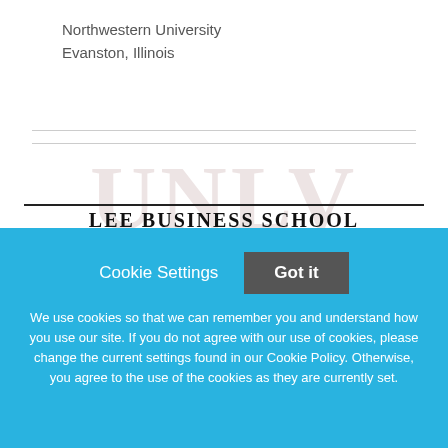Northwestern University
Evanston, Illinois
[Figure (logo): UNLV Lee Business School logo with faded UNLV text behind, horizontal rules, and subtitle 'MANAGEMENT, ENTREPRENEURSHIP']
Cookie Settings   Got it
We use cookies so that we can remember you and understand how you use our site. If you do not agree with our use of cookies, please change the current settings found in our Cookie Policy. Otherwise, you agree to the use of the cookies as they are currently set.